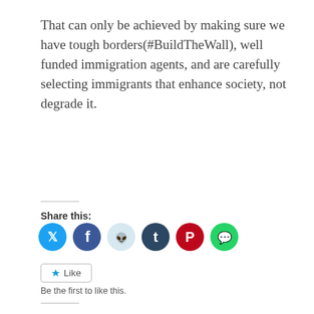That can only be achieved by making sure we have tough borders(#BuildTheWall), well funded immigration agents, and are carefully selecting immigrants that enhance society, not degrade it.
Share this:
[Figure (other): Social media share buttons: Twitter (blue), Facebook (blue), Reddit (light blue), Tumblr (dark blue), Pinterest (red), WhatsApp (green)]
[Figure (other): Like button widget with star icon]
Be the first to like this.
Related
[Figure (photo): Image with text 'TRAVEL BAN LEGAL' overlaid on American flag with a person's photo]
[Figure (photo): Photo of two men in suits]